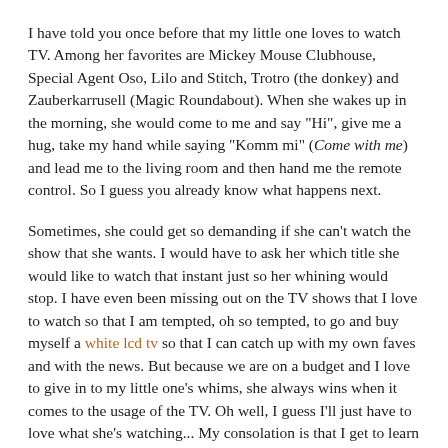I have told you once before that my little one loves to watch TV. Among her favorites are Mickey Mouse Clubhouse, Special Agent Oso, Lilo and Stitch, Trotro (the donkey) and Zauberkarrusell (Magic Roundabout). When she wakes up in the morning, she would come to me and say "Hi", give me a hug, take my hand while saying "Komm mi" (Come with me) and lead me to the living room and then hand me the remote control. So I guess you already know what happens next.
Sometimes, she could get so demanding if she can't watch the show that she wants. I would have to ask her which title she would like to watch that instant just so her whining would stop. I have even been missing out on the TV shows that I love to watch so that I am tempted, oh so tempted, to go and buy myself a white lcd tv so that I can catch up with my own faves and with the news. But because we are on a budget and I love to give in to my little one's whims, she always wins when it comes to the usage of the TV. Oh well, I guess I'll just have to love what she's watching... My consolation is that I get to learn a little German while watching with her. :D